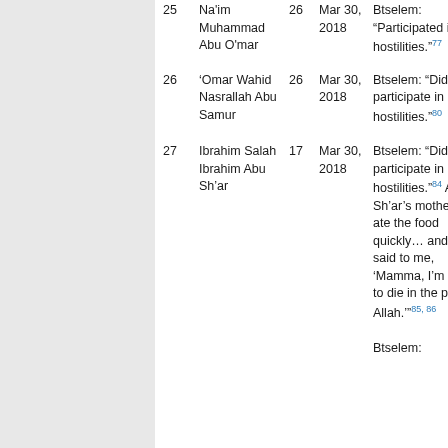| # | Name | Age | Date | Info | Additional |
| --- | --- | --- | --- | --- | --- |
| 25 | Na'im Muhammad Abu O'mar | 26 | Mar 30, 2018 | Btselem: “Participated in hostilities.”·77 | Qa Bri 79 |
| 26 | 'Omar Wahid Nasrallah Abu Samur | 26 | Mar 30, 2018 | Btselem: “Did not participate in hostilities.”·80 | Op Fat mo 82, b |
| 27 | Ibrahim Salah Ibrahim Abu Sh'ar | 17 | Mar 30, 2018 | Btselem: “Did not participate in hostilities.”·84 Abu Sh’ar’s mother: “He ate the food quickly… and then said to me, ‘Mamma, I’m going to die in the path of Allah.’”·85, 86 Btselem: |  |